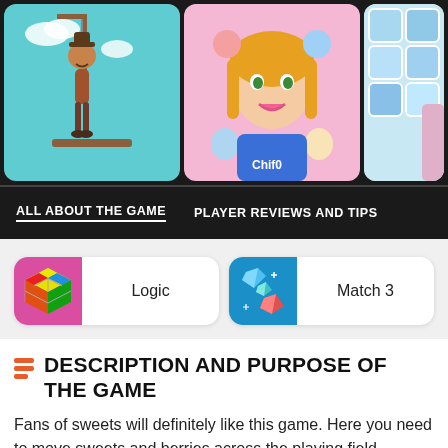[Figure (screenshot): Three game thumbnail images in a dark strip at the top: a hangman-style game with a cartoon cowboy character on a teal background, a princess/fashion game with anime-style girls on pink background, and a puzzle/tile game on light blue background.]
ALL ABOUT THE GAME    PLAYER REVIEWS AND TIPS
Logic
Match 3
DESCRIPTION AND PURPOSE OF THE GAME
Fans of sweets will definitely like this game. Here you need to move sweets and berries across the playing field,